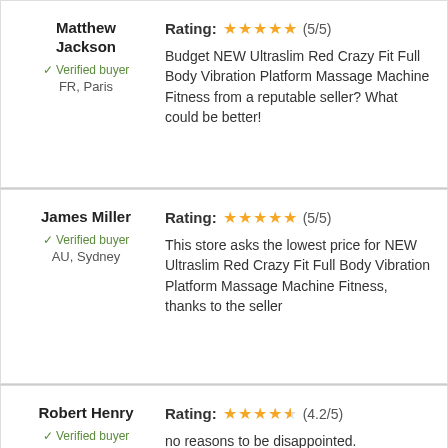Matthew Jackson
Verified buyer
FR, Paris
Rating: ★★★★★ (5/5)
Budget NEW Ultraslim Red Crazy Fit Full Body Vibration Platform Massage Machine Fitness from a reputable seller? What could be better!
James Miller
Verified buyer
AU, Sydney
Rating: ★★★★★ (5/5)
This store asks the lowest price for NEW Ultraslim Red Crazy Fit Full Body Vibration Platform Massage Machine Fitness, thanks to the seller
Robert Henry
Verified buyer
Rating: ★★★★½ (4.2/5)
no reasons to be disappointed.